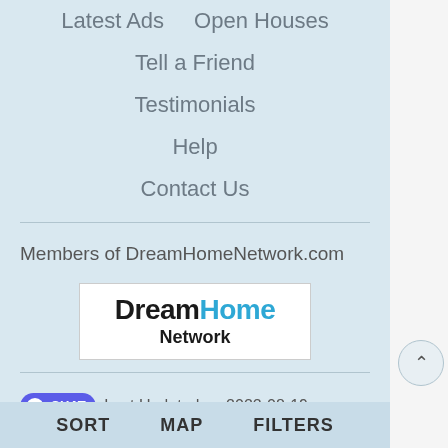Latest Ads   Open Houses
Tell a Friend
Testimonials
Help
Contact Us
Members of DreamHomeNetwork.com
[Figure (logo): DreamHome Network logo — bold black 'Dream', bold blue 'Home', bold black 'Network' below]
Last Updated on 2022-08-19
1997-2022 Lakehouse.com
SORT   MAP   FILTERS